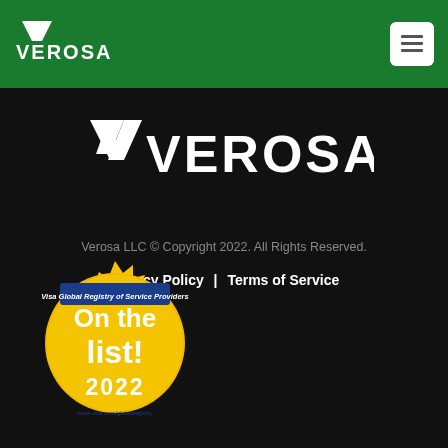[Figure (logo): Verosa logo in white on green header background]
[Figure (logo): Verosa logo large white on black background]
Verosa LLC © Copyright 2022. All Rights Reserved.
Privacy Policy | Terms of Service
[Figure (illustration): Visa Global Registry of Service Providers badge - gold starburst seal with text 'On the list! 2022' and URL www.visa.com/globalregistry]